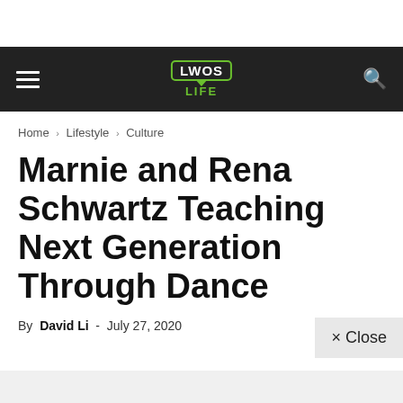LWOS LIFE — navigation bar with hamburger menu and search icon
Home › Lifestyle › Culture
Marnie and Rena Schwartz Teaching Next Generation Through Dance
By David Li - July 27, 2020
× Close